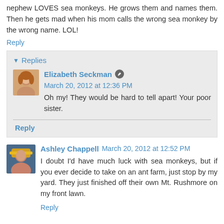nephew LOVES sea monkeys. He grows them and names them. Then he gets mad when his mom calls the wrong sea monkey by the wrong name. LOL!
Reply
Replies
Elizabeth Seckman  March 20, 2012 at 12:36 PM
Oh my! They would be hard to tell apart! Your poor sister.
Reply
Ashley Chappell  March 20, 2012 at 12:52 PM
I doubt I'd have much luck with sea monkeys, but if you ever decide to take on an ant farm, just stop by my yard. They just finished off their own Mt. Rushmore on my front lawn.
Reply